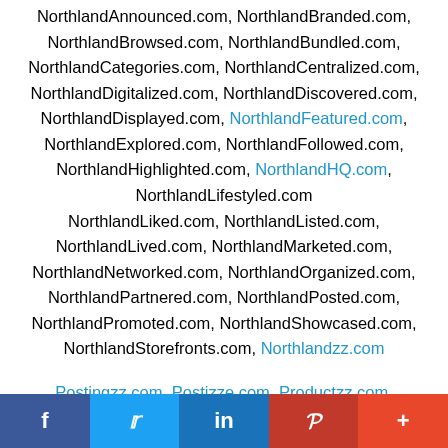NorthlandAnnounced.com, NorthlandBranded.com, NorthlandBrowsed.com, NorthlandBundled.com, NorthlandCategories.com, NorthlandCentralized.com, NorthlandDigitalized.com, NorthlandDiscovered.com, NorthlandDisplayed.com, NorthlandFeatured.com, NorthlandExplored.com, NorthlandFollowed.com, NorthlandHighlighted.com, NorthlandHQ.com, NorthlandLifestyled.com NorthlandLiked.com, NorthlandListed.com, NorthlandLived.com, NorthlandMarketed.com, NorthlandNetworked.com, NorthlandOrganized.com, NorthlandPartnered.com, NorthlandPosted.com, NorthlandPromoted.com, NorthlandShowcased.com, NorthlandStorefronts.com, Northlandzz.com
Postingzz.com, Postizze.com, Productzz.com, Professionalzz.com, Promoizze.com,
f  t  in  P  +